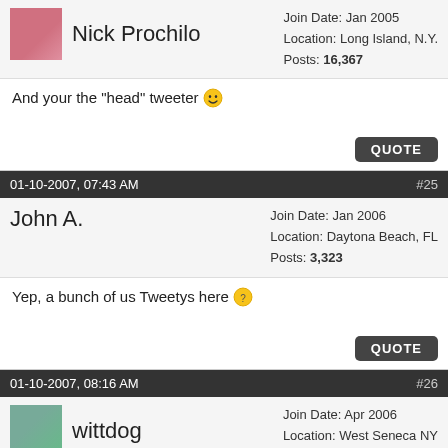Nick Prochilo
Join Date: Jan 2005
Location: Long Island, N.Y.
Posts: 16,367
And your the "head" tweeter 😄
QUOTE
01-10-2007, 07:43 AM  #25
John A.
Join Date: Jan 2006
Location: Daytona Beach, FL
Posts: 3,323
Yep, a bunch of us Tweetys here 🟡
QUOTE
01-10-2007, 08:16 AM  #26
wittdog
Join Date: Apr 2006
Location: West Seneca NY
Posts: 9,860
Quote:
Originally Posted by john pen